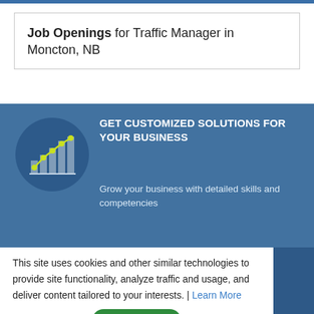Job Openings for Traffic Manager in Moncton, NB
[Figure (infographic): Blue banner ad with circular icon showing a bar chart with upward trending line. Text reads: GET CUSTOMIZED SOLUTIONS FOR YOUR BUSINESS. Grow your business with detailed skills and competencies]
This site uses cookies and other similar technologies to provide site functionality, analyze traffic and usage, and deliver content tailored to your interests. | Learn More